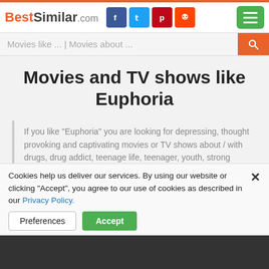BestSimilar.com
Movies and TV shows like Euphoria
If you like "Euphoria" you are looking for depressing, thought provoking and captivating movies or TV shows about / with drugs, drug addict, teenage life, teenager, youth, strong sexual content and sex themes of Drama genre shot in USA. Find your next favorite and similar movies in two steps: 1. Identify all themes of interest from this film (block below). 2. Look for them in the presented list.
Cookies help us deliver our services. By using our website or clicking "Accept", you agree to our use of cookies as described in our Privacy Policy.